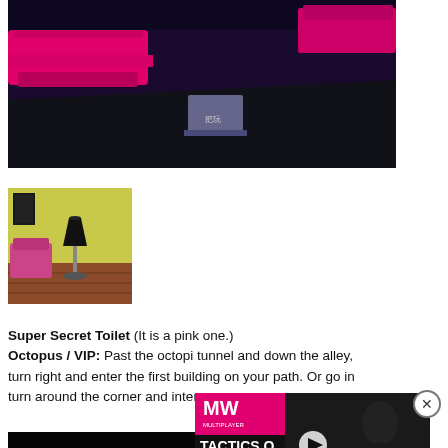[Figure (screenshot): 3D rendered room with pink/magenta furniture and dark floor, top portion visible]
[Figure (screenshot): Small thumbnail showing a room with a black lamp and pink chair on patterned carpet]
Super Secret Toilet (It is a pink one.) Octopus / VIP: Past the octopi tunnel and down the alley, turn right and enter the first building on your path. Or go turn around the corner and inte...
[Figure (screenshot): Dark alley/hallway scene with green-lit figure]
[Figure (advertisement): Ad overlay: MW logo, Tactics Ogre Reborn release date, with dark fantasy imagery]